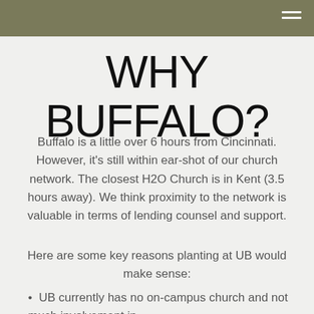WHY BUFFALO?
Buffalo is a little over 6 hours from Cincinnati. However, it's still within ear-shot of our church network. The closest H2O Church is in Kent (3.5 hours away). We think proximity to the network is valuable in terms of lending counsel and support.
Here are some key reasons planting at UB would make sense:
UB currently has no on-campus church and not much involvement in